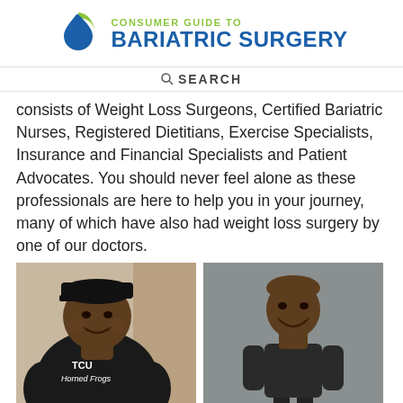CONSUMER GUIDE TO BARIATRIC SURGERY
SEARCH
consists of Weight Loss Surgeons, Certified Bariatric Nurses, Registered Dietitians, Exercise Specialists, Insurance and Financial Specialists and Patient Advocates. You should never feel alone as these professionals are here to help you in your journey, many of which have also had weight loss surgery by one of our doctors.
[Figure (photo): Before and after photos of a bariatric surgery patient. Left photo shows a heavy-set man wearing a black TCU Horned Frogs t-shirt and a black cap, smiling. Right photo shows the same man after weight loss, now slim, wearing a dark long-sleeve shirt, smiling.]